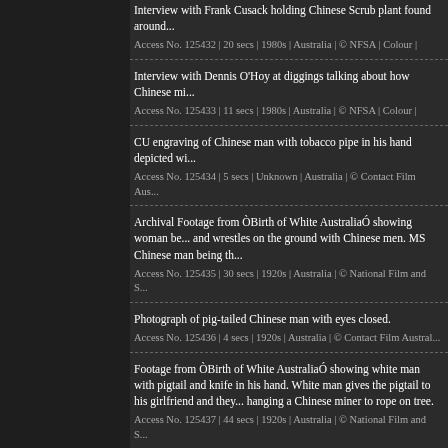Interview with Frank Cusack holding Chinese Scrub plant found around...
Access No. 125432 | 20 secs | 1980s | Australia | © NFSA | Colour |
Interview with Dennis O'Hoy at diggings talking about how Chinese mi...
Access No. 125433 | 11 secs | 1980s | Australia | © NFSA | Colour |
CU engraving of Chinese man with tobacco pipe in his hand depicted wi...
Access No. 125434 | 5 secs | Unknown | Australia | © Contact Film Aus...
Archival Footage from ÒBirth of White AustraliaÓ showing woman be... and wrestles on the ground with Chinese men. MS Chinese man being th...
Access No. 125435 | 30 secs | 1920s | Australia | © National Film and S...
Photograph of pig-tailed Chinese man with eyes closed.
Access No. 125436 | 4 secs | 1920s | Australia | © Contact Film Austral...
Footage from ÒBirth of White AustraliaÓ showing white man with pigtail and knife in his hand. White man gives the pigtail to his girlfriend and they... hanging a Chinese miner to rope on tree.
Access No. 125437 | 44 secs | 1920s | Australia | © National Film and S...
CU engraving depicting 1861 Chinese miners the goldfields...